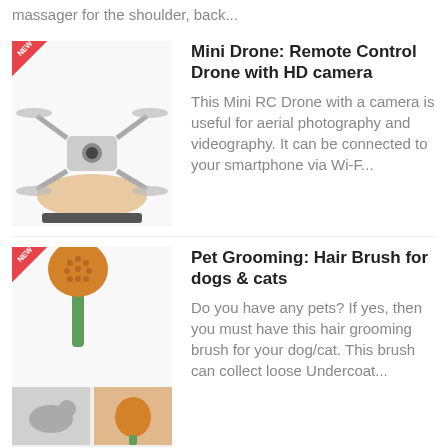massager for the shoulder, back...
[Figure (photo): Mini drone held in a hand, small quadcopter with camera]
Mini Drone: Remote Control Drone with HD camera
This Mini RC Drone with a camera is useful for aerial photography and videography. It can be connected to your smartphone via Wi-F...
[Figure (photo): Pet grooming hair brush for dogs and cats, orange round brush with green handle, grid of two small images]
Pet Grooming: Hair Brush for dogs & cats
Do you have any pets? If yes, then you must have this hair grooming brush for your dog/cat. This brush can collect loose Undercoat...
Home Gadgets 🏠
[Figure (photo): Inflatable mattress with air pump, dark blue inflatable lounge chair/mattress]
Top 3 Best Inflatable Mattress with Air Pump
An inflatable mattress is the best option whenever you need an extra bed in your house. It takes a few minutes to inflate and is v...